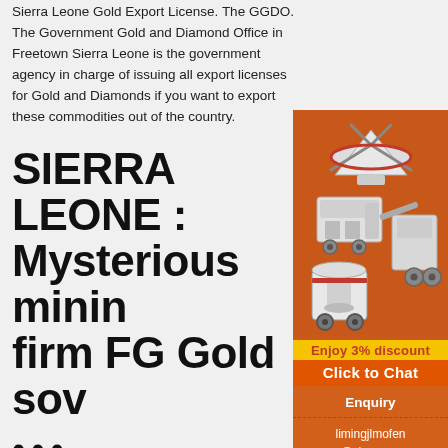Sierra Leone Gold Export License. The GGDO. The Government Gold and Diamond Office in Freetown Sierra Leone is the government agency in charge of issuing all export licenses for Gold and Diamonds if you want to export these commodities out of the country.
SIERRA LEONE : Mysterious mining firm FG Gold sov...
...
Jul 02, 2021 · Though Chakraborty is officially in charge of operations in Sierra Leone, it seems FG Gold is in fact run by Oliver Andrews, who until the start of this year was head of investments at the pan-African bank Africa Finance Corp (AFC). According to Freetown authorities, FG Gold is the result of a change of name for Plateau Gold. When ...
[Figure (illustration): Advertisement panel with mining equipment illustrations (cone crusher, jaw crusher, vertical shaft impact crusher) on orange background. Shows 'Enjoy 3% discount', 'Click to Chat', 'Enquiry', and contact email 'limingjlmofen@sina.com'.]